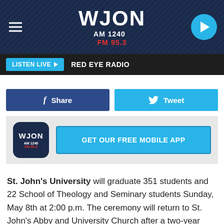[Figure (screenshot): WJON AM 1240 FM 95.3 radio station website header with hamburger menu, logo, and play button]
LISTEN LIVE ▶  RED EYE RADIO
[Figure (screenshot): Facebook Share button and Twitter Tweet button]
[Figure (screenshot): WJON app icon and GET OUR FREE MOBILE APP button]
St. John's University will graduate 351 students and 22 School of Theology and Seminary students Sunday, May 8th at 2:00 p.m. The ceremony will return to St. John's Abby and University Church after a two-year absence due to the COVID-19 pandemic.